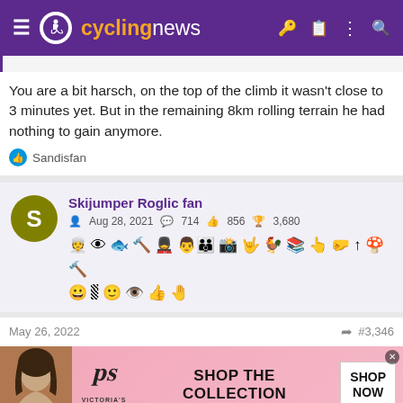cyclingnews
You are a bit harsch, on the top of the climb it wasn't close to 3 minutes yet. But in the remaining 8km rolling terrain he had nothing to gain anymore.
Sandisfan
Skijumper Roglic fan
Aug 28, 2021  714  856  3,680
May 26, 2022  #3,346
[Figure (photo): Victoria's Secret advertisement banner with model photo and 'SHOP THE COLLECTION' text and 'SHOP NOW' button]